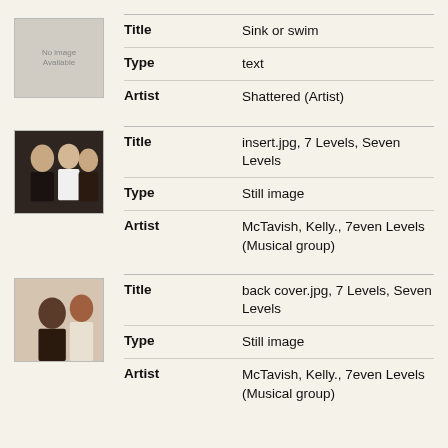| Title | Sink or swim |
| Type | text |
| Artist | Shattered (Artist) |
| Title | insert.jpg, 7 Levels, Seven Levels |
| Type | Still image |
| Artist | McTavish, Kelly., 7even Levels (Musical group) |
| Title | back cover.jpg, 7 Levels, Seven Levels |
| Type | Still image |
| Artist | McTavish, Kelly., 7even Levels (Musical group) |